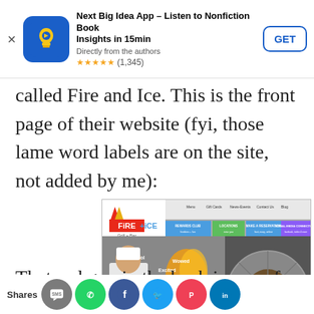[Figure (screenshot): App store advertisement banner for 'Next Big Idea App – Listen to Nonfiction Book Insights in 15min'. Shows app icon (blue background with lightbulb), title, subtitle 'Directly from the authors', star rating ★★★★★ (1,345), a close X button, and a GET button.]
called Fire and Ice. This is the front page of their website (fyi, those lame word labels are on the site, not added by me):
[Figure (screenshot): Screenshot of the Fire + Ice Grill + Bar restaurant website showing the logo, navigation menu, and a hero image of a chef cooking at a large grill with flames, with overlaid word labels: Cool, Excited, Wowed, Amazed, Bigger Grill in the world, Delicious Food. Right side shows a circular grill top view.]
That sad guy in the back is one of the writers.
Shares [social share buttons: SMS, WhatsApp, Facebook, Twitter, Pocket, LinkedIn]